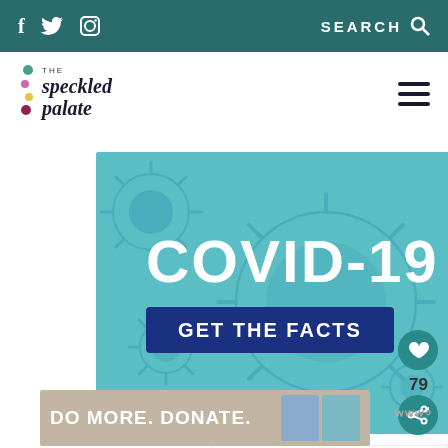f  Twitter  Instagram  SEARCH
[Figure (logo): The Speckled Palate logo with colorful dots and italic text]
[Figure (illustration): COVID-19 GET THE FACTS banner image with teal background and coronavirus illustrations]
79
WHAT'S NEXT → M&M's® Red Velvet...
[Figure (infographic): DO MORE. DONATE. advertisement banner with illustration of people]